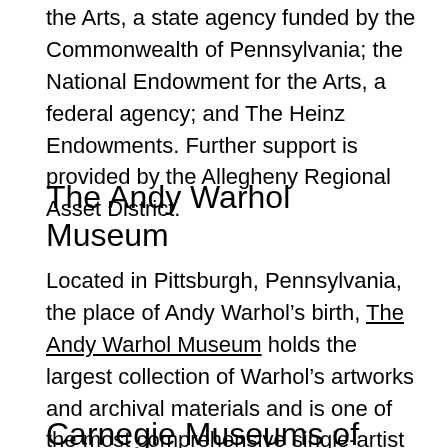the Arts, a state agency funded by the Commonwealth of Pennsylvania; the National Endowment for the Arts, a federal agency; and The Heinz Endowments. Further support is provided by the Allegheny Regional Asset District.
The Andy Warhol Museum
Located in Pittsburgh, Pennsylvania, the place of Andy Warhol’s birth, The Andy Warhol Museum holds the largest collection of Warhol’s artworks and archival materials and is one of the most comprehensive single-artist museums in the world. The Warhol is one of the four Carnegie Museums of Pittsburgh.
Carnegie Museums of Pittsburgh